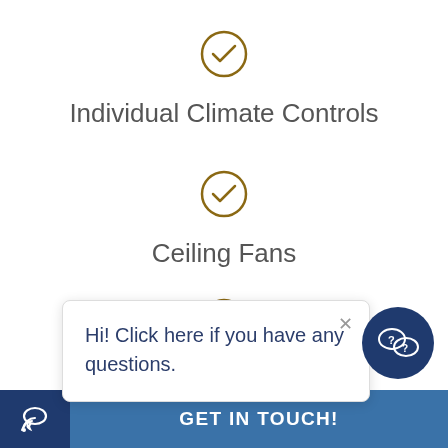[Figure (illustration): Gold circular checkmark icon for Individual Climate Controls feature]
Individual Climate Controls
[Figure (illustration): Gold circular checkmark icon for Ceiling Fans feature]
Ceiling Fans
[Figure (illustration): Partially visible gold circular checkmark icon for a third feature (cut off by chat popup)]
Hi! Click here if you have any questions.
[Figure (illustration): Dark blue circular chat/question mark icon button]
GET IN TOUCH!